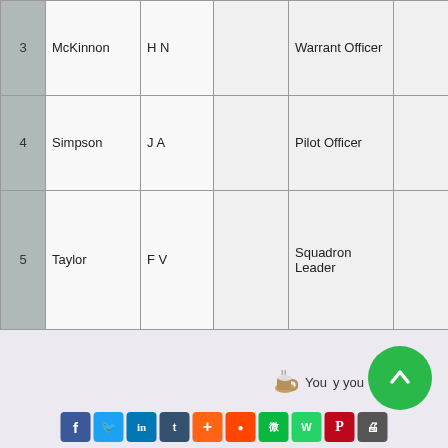|  | Surname | Initials |  | Rank |  | Service No. |  |
| --- | --- | --- | --- | --- | --- | --- | --- |
| 3 | McKinnon | H N |  | Warrant Officer |  | 623970 |  |
| 4 | Simpson | J A |  | Pilot Officer |  | J17113 |  |
| 5 | Taylor | F V |  | Squadron Leader |  | J15177 |  |
[Figure (screenshot): Website footer with coffee cup icon, share buttons (Facebook, Twitter, LinkedIn, Tumblr, AddThis, Reddit, WeChat, WhatsApp, Pinterest, Print), and a green scroll-to-top button]